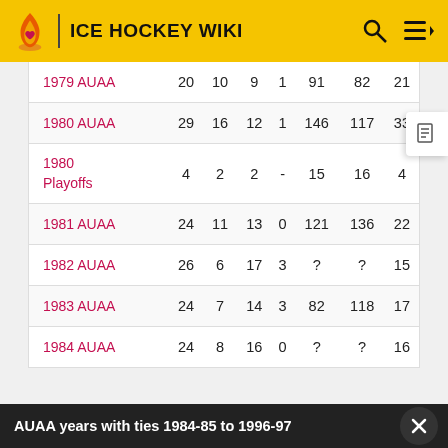ICE HOCKEY WIKI
| Season | GP | W | L | T | GF | GA | PTS |
| --- | --- | --- | --- | --- | --- | --- | --- |
| 1979 AUAA | 20 | 10 | 9 | 1 | 91 | 82 | 21 |
| 1980 AUAA | 29 | 16 | 12 | 1 | 146 | 117 | 33 |
| 1980 Playoffs | 4 | 2 | 2 | - | 15 | 16 | 4 |
| 1981 AUAA | 24 | 11 | 13 | 0 | 121 | 136 | 22 |
| 1982 AUAA | 26 | 6 | 17 | 3 | ? | ? | 15 |
| 1983 AUAA | 24 | 7 | 14 | 3 | 82 | 118 | 17 |
| 1984 AUAA | 24 | 8 | 16 | 0 | ? | ? | 16 |
AUAA years with ties 1984-85 to 1996-97